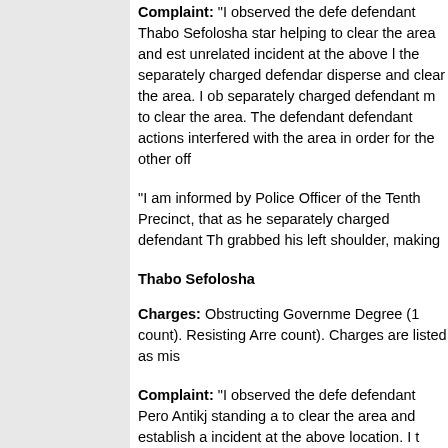Complaint: "I observed the defendant Thabo Sefolosha standing helping to clear the area and establishing a perimeter for an unrelated incident at the above location. I told the separately charged defendant to disperse and clear the area. I observed the separately charged defendant move closer to clear the area. The defendant actions interfered with the area in order for the other officers…"
"I am informed by Police Officer of the Tenth Precinct, that as he separately charged defendant Thabo grabbed his left shoulder, making…"
Thabo Sefolosha
Charges: Obstructing Governmental Administration in the Second Degree (1 count). Resisting Arrest (1 count). Charges are listed as misdemeanors.
Complaint: "I observed the defendant Pero Antikj standing attempting to clear the area and establish a perimeter for an unrelated incident at the above location. I told the separately charged defendant approach and clear the area. I observed the charged defendant move a count…"